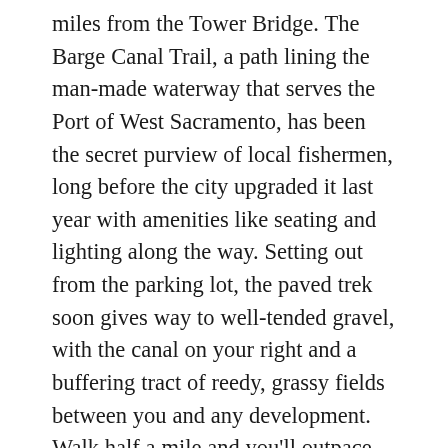miles from the Tower Bridge. The Barge Canal Trail, a path lining the man-made waterway that serves the Port of West Sacramento, has been the secret purview of local fishermen, long before the city upgraded it last year with amenities like seating and lighting along the way. Setting out from the parking lot, the paved trek soon gives way to well-tended gravel, with the canal on your right and a buffering tract of reedy, grassy fields between you and any development. Walk half a mile and you'll outpace the fishermen laden with gear, getting the place to yourself. Pause at the 1-mile mark to watch kayak fishers cast their lines against a backdrop of grain silos, shipping cranes, docks and big cargo boats; then there's the